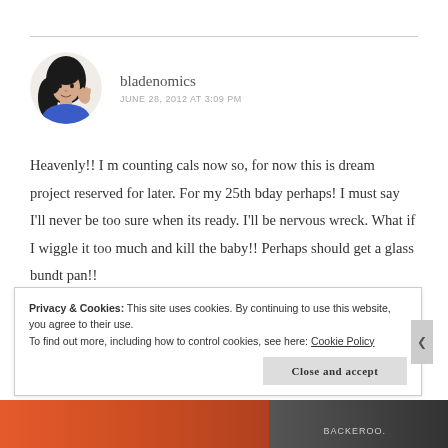[Figure (illustration): Circular avatar illustration of a woman with long dark hair, wearing a blue top, shown from shoulders up with hand raised.]
bladenomics
JUNE 28, 2012 AT 3:09 PM
Heavenly!! I m counting cals now so, for now this is dream project reserved for later. For my 25th bday perhaps! I must say I'll never be too sure when its ready. I'll be nervous wreck. What if I wiggle it too much and kill the baby!! Perhaps should get a glass bundt pan!!
Privacy & Cookies: This site uses cookies. By continuing to use this website, you agree to their use.
To find out more, including how to control cookies, see here: Cookie Policy
Close and accept